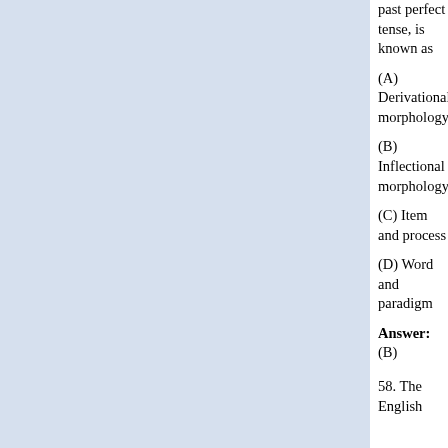past perfect tense, is known as
(A) Derivational morphology
(B) Inflectional morphology
(C) Item and process
(D) Word and paradigm
Answer: (B)
58. The English